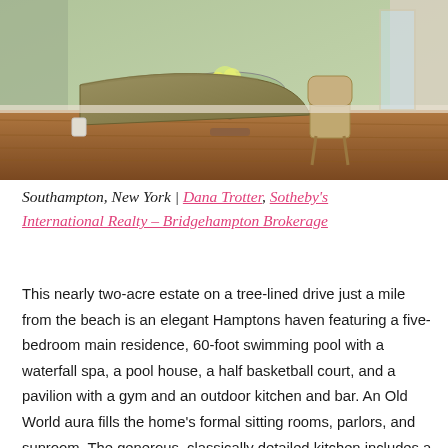[Figure (photo): Interior photo of a breakfast nook with a curved tufted olive/khaki banquette sofa, a round pedestal table with a floral centerpiece, a wooden chair, hardwood floors, green painted walls, and natural light from windows.]
Southampton, New York | Dana Trotter, Sotheby's International Realty – Bridgehampton Brokerage
This nearly two-acre estate on a tree-lined drive just a mile from the beach is an elegant Hamptons haven featuring a five-bedroom main residence, 60-foot swimming pool with a waterfall spa, a pool house, a half basketball court, and a pavilion with a gym and an outdoor kitchen and bar. An Old World aura fills the home's formal sitting rooms, parlors, and sunroom. The generous, classically detailed kitchen includes a delightful breakfast area nestled in a gracefully